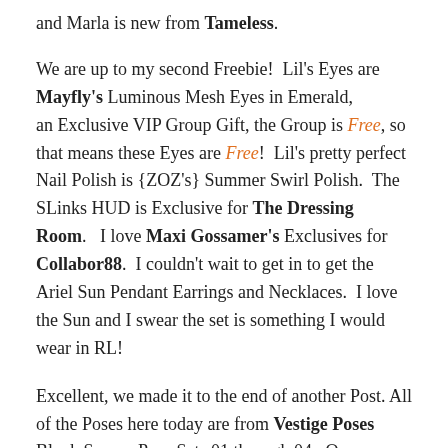and Marla is new from Tameless.
We are up to my second Freebie!  Lil's Eyes are Mayfly's Luminous Mesh Eyes in Emerald, an Exclusive VIP Group Gift, the Group is Free, so that means these Eyes are Free!  Lil's pretty perfect Nail Polish is {ZOZ's} Summer Swirl Polish.  The SLinks HUD is Exclusive for The Dressing Room.   I love Maxi Gossamer's Exclusives for Collabor88.  I couldn't wait to get in to get the Ariel Sun Pendant Earrings and Necklaces.  I love the Sun and I swear the set is something I would wear in RL!
Excellent, we made it to the end of another Post. All of the Poses here today are from Vestige Poses Blank Spaces Pose Sets 01 through 04.  One more thing I